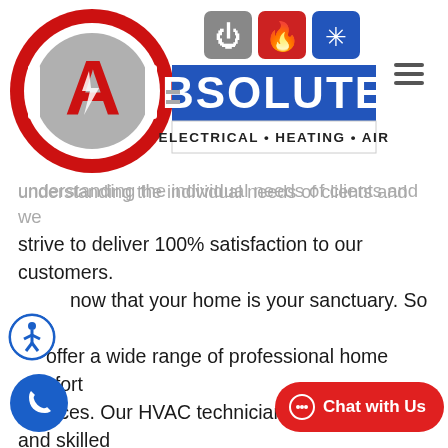[Figure (logo): Absolute Electrical Heating Air logo with red A in circle, blue banner with BSOLUTE text, icons for electrical, heating, air conditioning, and hamburger menu icon]
understanding the individual needs of clients and we strive to deliver 100% satisfaction to our customers. [know] that your home is your sanctuary. So we [offer] a wide range of professional home comfort services. Our HVAC technicians are trained and skilled to handle any job, large or small, whether it's routine maintenance or an emergency repair. Our professional technicians are ready to provide prompt and efficient service. Call 720.381.1767 today and let us earn your [tru]ss. We are able to offer grea[t] unparalleled results for a fair price, thanks to decades